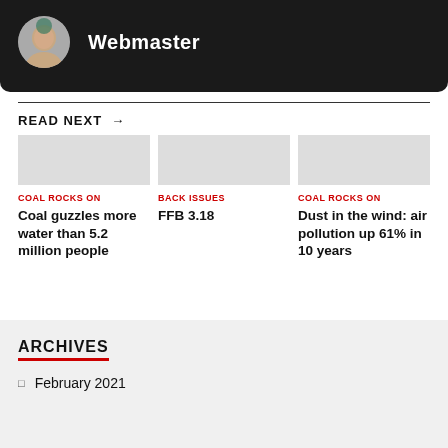Webmaster
READ NEXT →
COAL ROCKS ON
Coal guzzles more water than 5.2 million people
BACK ISSUES
FFB 3.18
COAL ROCKS ON
Dust in the wind: air pollution up 61% in 10 years
ARCHIVES
February 2021